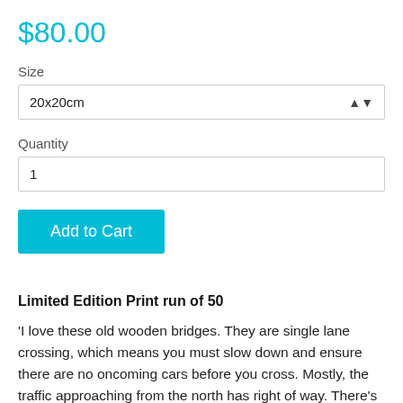$80.00
Size
20x20cm
Quantity
1
Add to Cart
Limited Edition Print run of 50
‘I love these old wooden bridges. They are single lane crossing, which means you must slow down and ensure there are no oncoming cars before you cross. Mostly, the traffic approaching from the north has right of way. There’s